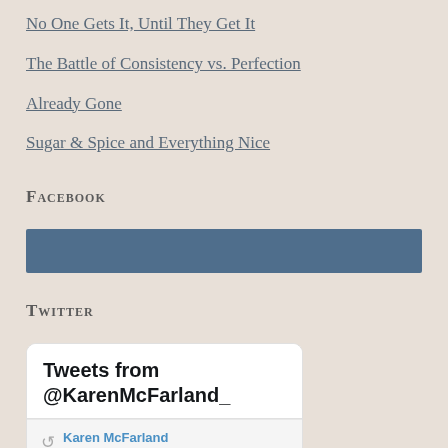No One Gets It, Until They Get It
The Battle of Consistency vs. Perfection
Already Gone
Sugar & Spice and Everything Nice
Facebook
[Figure (other): Facebook widget bar placeholder — solid blue-grey horizontal bar]
Twitter
[Figure (screenshot): Twitter widget showing 'Tweets from @KarenMcFarland_' header and a tweet showing Karen McFarland Retweeted with an avatar and bird icons]